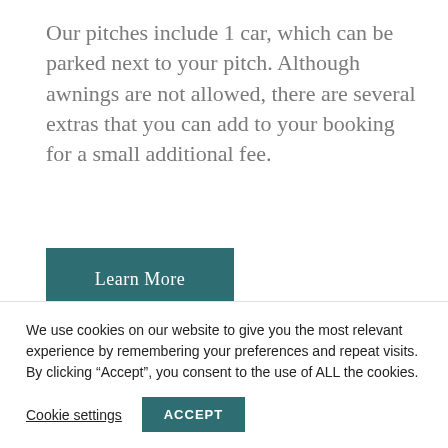Our pitches include 1 car, which can be parked next to your pitch. Although awnings are not allowed, there are several extras that you can add to your booking for a small additional fee.
[Figure (other): A teal/dark green 'Learn More' button]
[Figure (other): A grey horizontal bar partially visible, and a grey scroll-to-top button with upward chevron]
We use cookies on our website to give you the most relevant experience by remembering your preferences and repeat visits. By clicking “Accept”, you consent to the use of ALL the cookies.
Cookie settings
ACCEPT